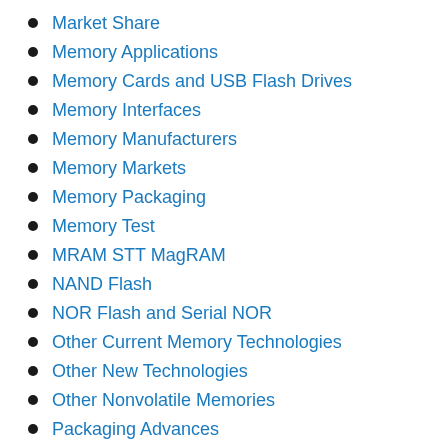Market Share
Memory Applications
Memory Cards and USB Flash Drives
Memory Interfaces
Memory Manufacturers
Memory Markets
Memory Packaging
Memory Test
MRAM STT MagRAM
NAND Flash
NOR Flash and Serial NOR
Other Current Memory Technologies
Other New Technologies
Other Nonvolatile Memories
Packaging Advances
PCM PRAM Phase-Change OUM Ovonyx